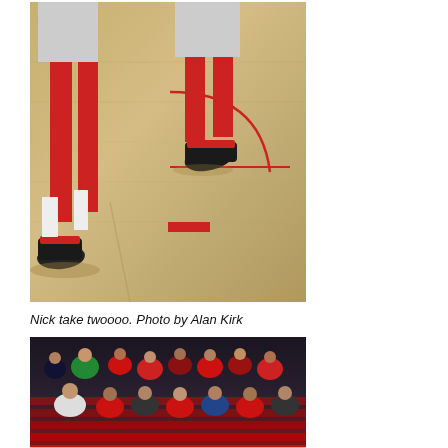[Figure (photo): Basketball court photo showing legs of players in red uniforms on a wooden court floor with red court markings]
Nick take twoooo. Photo by Alan Kirk
[Figure (photo): Crowd of spectators in stadium seats at a basketball game, wearing red and other colors]